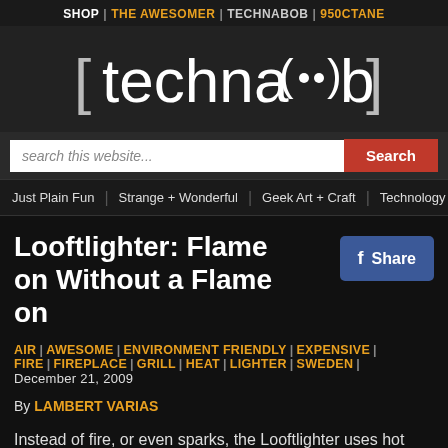SHOP | THE AWESOMER | TECHNABOB | 950CTANE
[Figure (logo): Technabob website logo in white text with brackets on dark background]
search this website...
Just Plain Fun | Strange + Wonderful | Geek Art + Craft | Technology | Video
Looftlighter: Flame on Without a Flame on
Share
AIR | AWESOME | ENVIRONMENT FRIENDLY | EXPENSIVE | FIRE | FIREPLACE | GRILL | HEAT | LIGHTER | SWEDEN | December 21, 2009
By LAMBERT VARIAS
Instead of fire, or even sparks, the Looftlighter uses hot